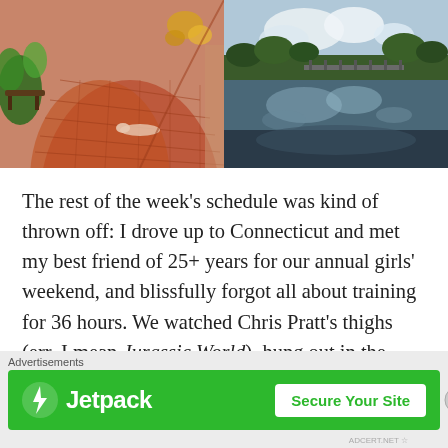[Figure (photo): Two side-by-side outdoor photos: left shows a curved red brick path/walkway with benches and flowering plants, a person lying on the path; right shows a calm river or lake reflecting clouds, with trees and a bridge in the background.]
The rest of the week’s schedule was kind of thrown off: I drove up to Connecticut and met my best friend of 25+ years for our annual girls’ weekend, and blissfully forgot all about training for 36 hours. We watched Chris Pratt’s thighs (err, I mean Jurassic World), hung out in the hotel hot tub, laughed until our stomachs hurt, talked about life...
[Figure (other): Jetpack advertisement banner with green background, Jetpack logo (lightning bolt icon + 'Jetpack' text) on the left, and a 'Secure Your Site' button on the right. Labeled 'Advertisements' above.]